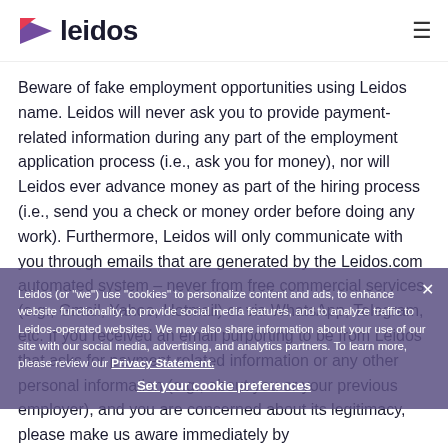leidos
Beware of fake employment opportunities using Leidos name. Leidos will never ask you to provide payment-related information during any part of the employment application process (i.e., ask you for money), nor will Leidos ever advance money as part of the hiring process (i.e., send you a check or money order before doing any work). Furthermore, Leidos will only communicate with you through emails that are generated by the Leidos.com automated system – never from free commercial services (e.g., Gmail, Yahoo, Hotmail) or via WhatsApp, Telegram, etc. If you received an email purporting to be from Leidos that asks for payment-related information or any other personal information (e.g., about you or your previous employer), and you are concerned about its legitimacy, please make us aware immediately by
Leidos (or "we") use "cookies" to personalize content and ads, to enhance website functionality, to provide social media features, and to analyze traffic to Leidos-operated websites. We may also share information about your use of our site with our social media, advertising, and analytics partners. To learn more, please review our Privacy Statement.
Set your cookie preferences